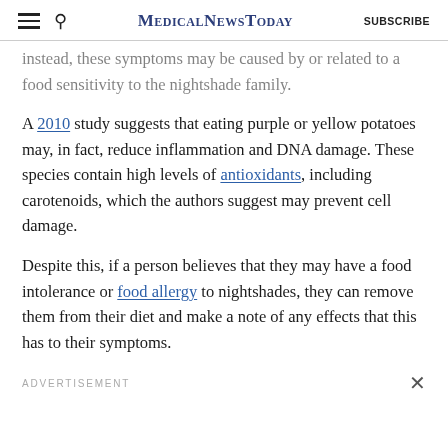MedicalNewsToday | SUBSCRIBE
instead, these symptoms may be caused by or related to a food sensitivity to the nightshade family.
A 2010 study suggests that eating purple or yellow potatoes may, in fact, reduce inflammation and DNA damage. These species contain high levels of antioxidants, including carotenoids, which the authors suggest may prevent cell damage.
Despite this, if a person believes that they may have a food intolerance or food allergy to nightshades, they can remove them from their diet and make a note of any effects that this has to their symptoms.
ADVERTISEMENT